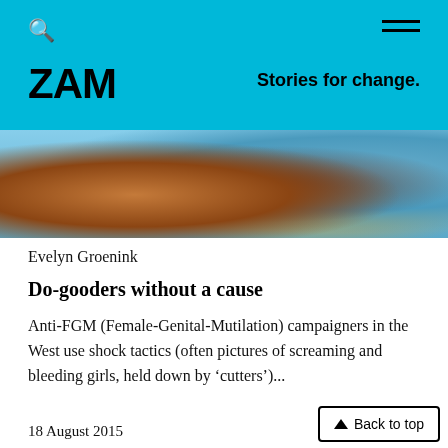ZAM — Stories for change.
[Figure (photo): Blurred close-up photo showing dark brown skin tones and blue fabric/background]
Evelyn Groenink
Do-gooders without a cause
Anti-FGM (Female-Genital-Mutilation) campaigners in the West use shock tactics (often pictures of screaming and bleeding girls, held down by 'cutters')...
18 August 2015